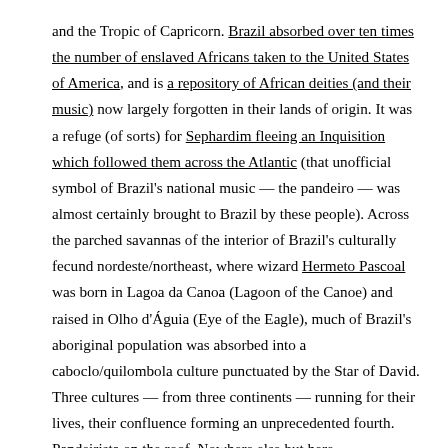and the Tropic of Capricorn. Brazil absorbed over ten times the number of enslaved Africans taken to the United States of America, and is a repository of African deities (and their music) now largely forgotten in their lands of origin. It was a refuge (of sorts) for Sephardim fleeing an Inquisition which followed them across the Atlantic (that unofficial symbol of Brazil's national music — the pandeiro — was almost certainly brought to Brazil by these people). Across the parched savannas of the interior of Brazil's culturally fecund nordeste/northeast, where wizard Hermeto Pascoal was born in Lagoa da Canoa (Lagoon of the Canoe) and raised in Olho d'Águia (Eye of the Eagle), much of Brazil's aboriginal population was absorbed into a caboclo/quilombola culture punctuated by the Star of David. Three cultures — from three continents — running for their lives, their confluence forming an unprecedented fourth. Pandeirista on the roof. Nowhere else but here.